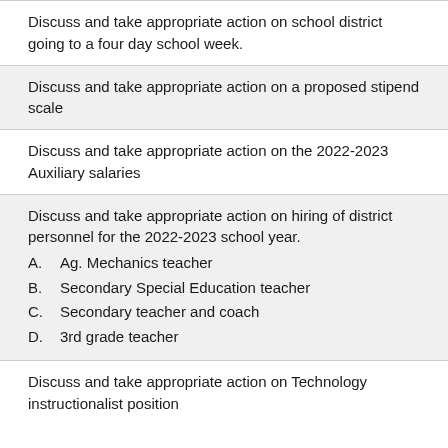Discuss and take appropriate action on school district going to a four day school week.
Discuss and take appropriate action on a proposed stipend scale
Discuss and take appropriate action on the 2022-2023 Auxiliary salaries
Discuss and take appropriate action on hiring of district personnel for the 2022-2023 school year.
A. Ag. Mechanics teacher
B. Secondary Special Education teacher
C. Secondary teacher and coach
D. 3rd grade teacher
Discuss and take appropriate action on Technology instructionalist position